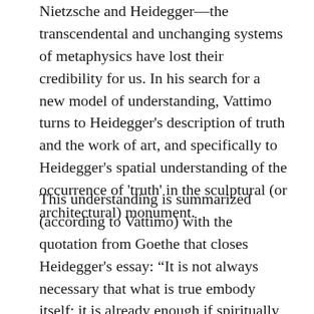Nietzsche and Heidegger—the transcendental and unchanging systems of metaphysics have lost their credibility for us. In his search for a new model of understanding, Vattimo turns to Heidegger's description of truth and the work of art, and specifically to Heidegger's spatial understanding of the occurrence of 'truth' in the sculptural (or architectural) monument.
This understanding is summarized (according to Vattimo) with the quotation from Goethe that closes Heidegger's essay: “It is not always necessary that what is true embody itself; it is already enough if spiritually it hovers about and evokes harmony, if it floats through the air like the solemn and friendly sound of a